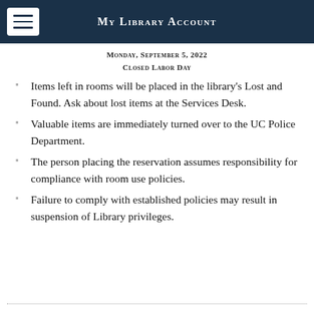My Library Account
Monday, September 5, 2022
Closed Labor Day
Items left in rooms will be placed in the library's Lost and Found. Ask about lost items at the Services Desk.
Valuable items are immediately turned over to the UC Police Department.
The person placing the reservation assumes responsibility for compliance with room use policies.
Failure to comply with established policies may result in suspension of Library privileges.